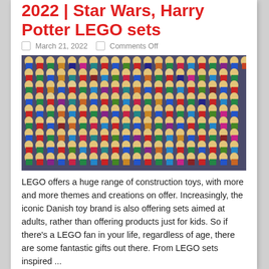2022 | Star Wars, Harry Potter LEGO sets
March 21, 2022   Comments Off
[Figure (photo): A large grid of colorful LEGO minifigures densely arranged, showing hundreds of characters in various colors and outfits.]
LEGO offers a huge range of construction toys, with more and more themes and creations on offer. Increasingly, the iconic Danish toy brand is also offering sets aimed at adults, rather than offering products just for kids. So if there’s a LEGO fan in your life, regardless of age, there are some fantastic gifts out there. From LEGO sets inspired ...